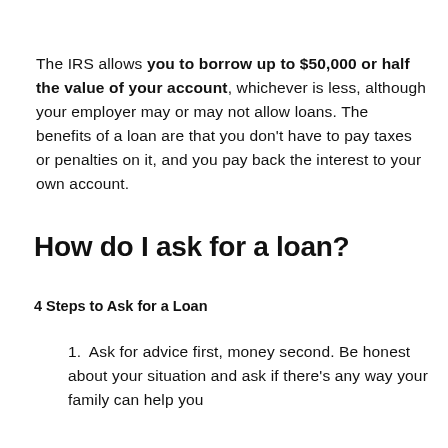The IRS allows you to borrow up to $50,000 or half the value of your account, whichever is less, although your employer may or may not allow loans. The benefits of a loan are that you don't have to pay taxes or penalties on it, and you pay back the interest to your own account.
How do I ask for a loan?
4 Steps to Ask for a Loan
Ask for advice first, money second. Be honest about your situation and ask if there's any way your family can help you